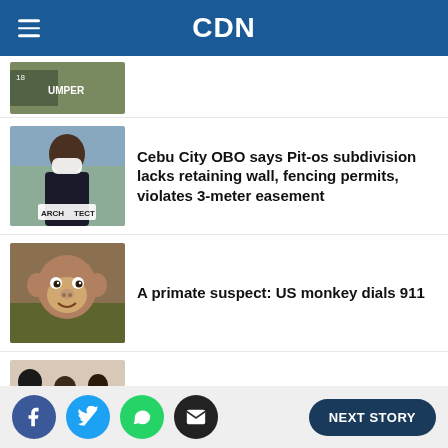CDN
[Figure (photo): Partial view of a news thumbnail showing a banner with text 'UMPER']
Cebu City OBO says Pit-os subdivision lacks retaining wall, fencing permits, violates 3-meter easement
[Figure (photo): Man wearing a white face mask and a lanyard with 'ARCHITECT' label, being interviewed outdoors]
A primate suspect: US monkey dials 911
[Figure (photo): Close-up photo of a capuchin monkey looking at the camera with bushes in the background]
BTS collab hits Billboard Hot 100 at no. 10
[Figure (photo): Partial photo of BTS group members in stylish attire]